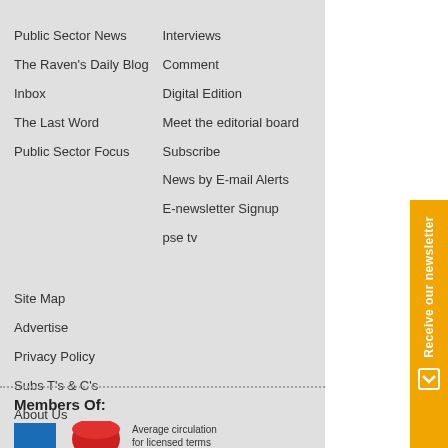Public Sector News
The Raven's Daily Blog
Inbox
The Last Word
Public Sector Focus
Interviews
Comment
Digital Edition
Meet the editorial board
Subscribe
News by E-mail Alerts
E-newsletter Signup
pse tv
Site Map
Advertise
Privacy Policy
Subs T's & C's
About Us
Members Of:
Average circulation for licensed terms
[Figure (logo): Blue rectangle logo and red circular/arc logo for member organizations]